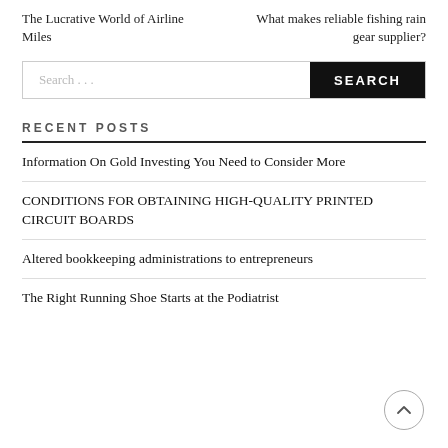The Lucrative World of Airline Miles
What makes reliable fishing rain gear supplier?
Search …
RECENT POSTS
Information On Gold Investing You Need to Consider More
CONDITIONS FOR OBTAINING HIGH-QUALITY PRINTED CIRCUIT BOARDS
Altered bookkeeping administrations to entrepreneurs
The Right Running Shoe Starts at the Podiatrist